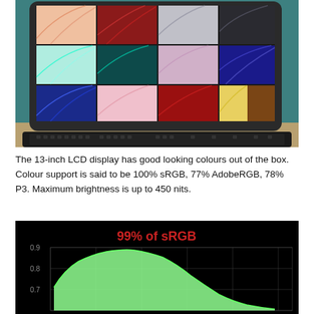[Figure (photo): Tablet computer (iPad-like device) with a keyboard case, displaying a colorful mosaic of macOS/iOS wallpapers on its screen. The background is teal/green colored surface.]
The 13-inch LCD display has good looking colours out of the box. Colour support is said to be 100% sRGB, 77% AdobeRGB, 78% P3. Maximum brightness is up to 450 nits.
[Figure (continuous-plot): Color gamut chart on black background showing '99% of sRGB' in red text. A green filled area shows the measured gamut curve. Y-axis shows values 0.7, 0.8, 0.9.]